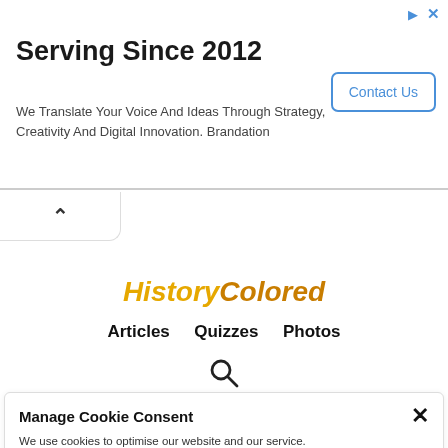[Figure (screenshot): Advertisement banner: 'Serving Since 2012' with tagline and Contact Us button]
Serving Since 2012
We Translate Your Voice And Ideas Through Strategy, Creativity And Digital Innovation. Brandation
HistoryColored
Articles   Quizzes   Photos
[Figure (other): Search icon (magnifying glass)]
Manage Cookie Consent
We use cookies to optimise our website and our service.
0
Cookie Policy   Privacy Statement   Impressum